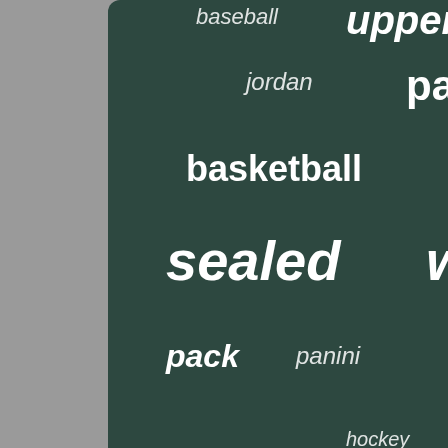[Figure (other): Word cloud on dark teal background with keywords: baseball, upper, bracelet, hobby, jordan, pandora, black, basketball, swarovski, topps, deck, sealed, watch, gucci, packs, pack, panini, logo, chanel, factory, hockey, brand]
Index
Contact Form
Privacy Policies
Terms of service
EN  FR
[Figure (other): Social media icons: Facebook (blue), Twitter (blue), Pinterest (red), Email/Mail (blue)]